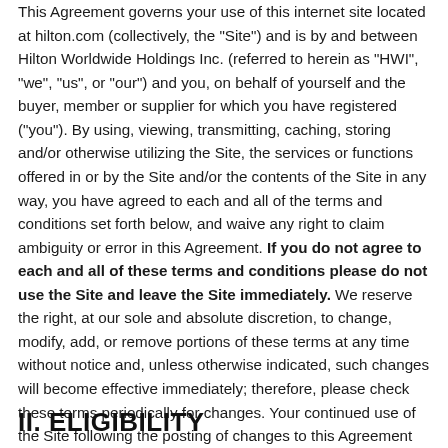This Agreement governs your use of this internet site located at hilton.com (collectively, the "Site") and is by and between Hilton Worldwide Holdings Inc. (referred to herein as "HWI", "we", "us", or "our") and you, on behalf of yourself and the buyer, member or supplier for which you have registered ("you"). By using, viewing, transmitting, caching, storing and/or otherwise utilizing the Site, the services or functions offered in or by the Site and/or the contents of the Site in any way, you have agreed to each and all of the terms and conditions set forth below, and waive any right to claim ambiguity or error in this Agreement. If you do not agree to each and all of these terms and conditions please do not use the Site and leave the Site immediately. We reserve the right, at our sole and absolute discretion, to change, modify, add, or remove portions of these terms at any time without notice and, unless otherwise indicated, such changes will become effective immediately; therefore, please check these terms periodically for changes. Your continued use of the Site following the posting of changes to this Agreement will mean you accept those changes.
II. ELIGIBILITY